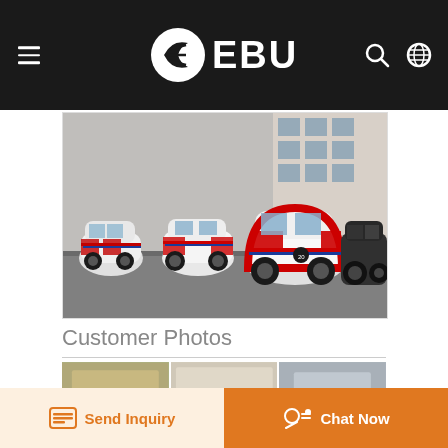EBU
[Figure (photo): Row of small electric cars parked in a lot, white with red and blue/black accents, branded with logos, in front of a building]
Customer Photos
[Figure (photo): Thumbnail strip of three customer photos at bottom of page]
Send Inquiry
Chat Now